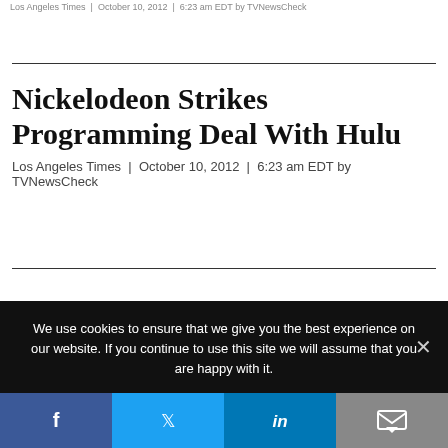Los Angeles Times | October 10, 2012 | 6:23 am EDT by TVNewsCheck
Nickelodeon Strikes Programming Deal With Hulu
Los Angeles Times | October 10, 2012 | 6:23 am EDT by TVNewsCheck
We use cookies to ensure that we give you the best experience on our website. If you continue to use this site we will assume that you are happy with it.